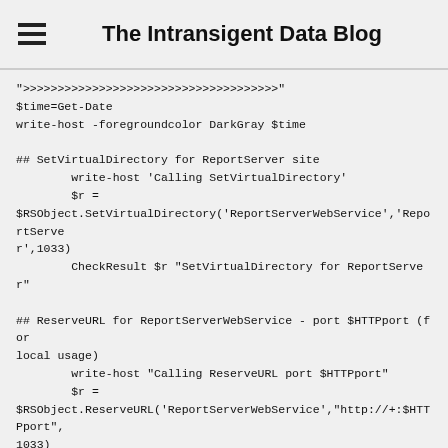The Intransigent Data Blog
">>>>>>>>>>>>>>>>>>>>>>>>>>>>>>>>>>>>>>>"
$time=Get-Date
write-host -foregroundcolor DarkGray $time

## SetVirtualDirectory for ReportServer site
        write-host 'Calling SetVirtualDirectory'
        $r =
$RSObject.SetVirtualDirectory('ReportServerWebService','ReportServer',1033)
        CheckResult $r "SetVirtualDirectory for ReportServer"

## ReserveURL for ReportServerWebService - port $HTTPport (for local usage)
        write-host "Calling ReserveURL port $HTTPport"
        $r =
$RSObject.ReserveURL('ReportServerWebService',"http://+:$HTTPport",1033)
        CheckResult $r "ReserveURL for ReportServer port $HTTPport"